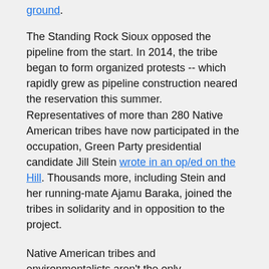ground.
The Standing Rock Sioux opposed the pipeline from the start. In 2014, the tribe began to form organized protests -- which rapidly grew as pipeline construction neared the reservation this summer. Representatives of more than 280 Native American tribes have now participated in the occupation, Green Party presidential candidate Jill Stein wrote in an op/ed on the Hill. Thousands more, including Stein and her running-mate Ajamu Baraka, joined the tribes in solidarity and in opposition to the project.
Native American tribes and environmentalists aren't the only